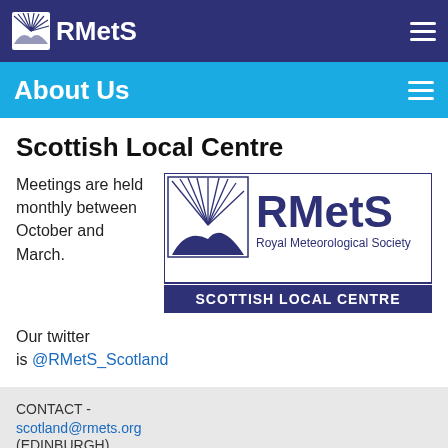RMetS
About Us
Scottish Local Centre
Meetings are held monthly between October and March.
[Figure (logo): RMetS Royal Meteorological Society Scottish Local Centre logo — blue square with radiating lines icon, large RMetS text, 'Royal Meteorological Society' subtitle, and 'SCOTTISH LOCAL CENTRE' on a dark blue banner.]
Our twitter is @RMetS_Scotland
CONTACT - scotland@rmets.org (EDINBURGH)